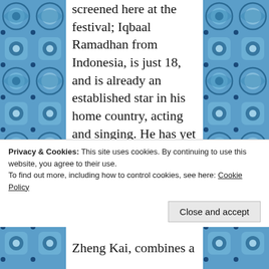[Figure (illustration): Decorative blue and white tile/mosaic pattern forming left and right border columns of the page]
screened here at the festival; Iqbaal Ramadhan from Indonesia, is just 18, and is already an established star in his home country, acting and singing. He has yet to go to college and will attend Monash University, Melbourne next year; Xana Tang is from New Zealand and is
Privacy & Cookies: This site uses cookies. By continuing to use this website, you agree to their use.
To find out more, including how to control cookies, see here: Cookie Policy
Close and accept
Zheng Kai, combines a